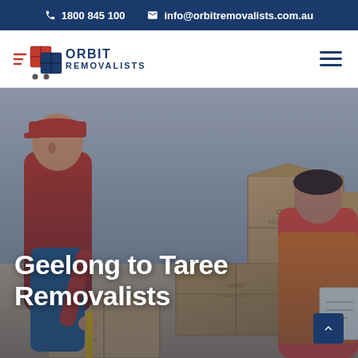1800 845 100   info@orbitremovalists.com.au
[Figure (logo): Orbit Removalists logo with moving boxes icon and text 'ORBIT REMOVALISTS']
[Figure (photo): Hero photo of two removalists workers with cardboard boxes branded with Orbit Removalists logo. One worker in red uniform using a hand truck, another in orange vest holding a clipboard.]
Geelong to Taree Removalists